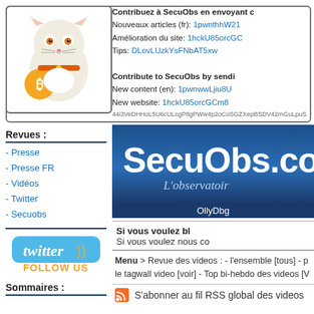[Figure (illustration): Lucky cat (maneki-neko) holding a Bitcoin coin, cartoon style]
Contribuez à SecuObs en envoyant c
Nouveaux articles (fr): 1pwnthhW21...
Amélioration du site: 1hckU85orcGC...
Tips: DLovLUzkYsFNbAT5xw...

Contribute to SecuObs by sendi...
New content (en): 1pwnwwLjiu8U...
New website: 1hckU85orcGCm8...
44i3VeDHHoL5U6cULcgP8gPWw4p2oCoSGZXepBSDV42mGuLpuS...
Revues :
- Presse
- Presse FR
- Vidéos
- Twitter
- Secuobs
[Figure (logo): Twitter logo with 'twitter' text in blue and orange waves, with 'FOLLOW US' text below in orange]
Sommaires :
[Figure (logo): SecuObs.com banner with subtitle L'observatoir...]
OllyDbg
Si vous voulez bl...
Si vous voulez nous co...
Menu > Revue des videos : - l'ensemble [tous] - p... le tagwall video [voir] - Top bi-hebdo des videos [V...
S'abonner au fil RSS global des videos...